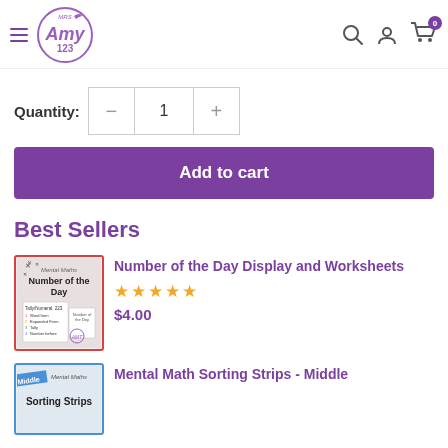[Figure (logo): Mrs Amy 123 logo - circular purple logo with bird/Amy text and 123]
Quantity: 1
Add to cart
Best Sellers
[Figure (photo): Mental Maths Number of the Day worksheet product thumbnail with red border]
Number of the Day Display and Worksheets
★★★★★
$4.00
[Figure (photo): Mental Maths Sorting Strips Middle product thumbnail with blue border]
Mental Math Sorting Strips - Middle